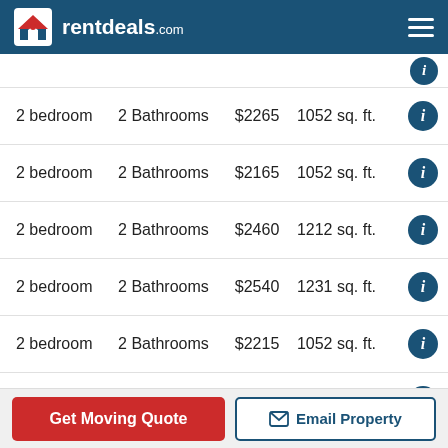rentdeals.com
| Bedrooms | Bathrooms | Price | Size | Info |
| --- | --- | --- | --- | --- |
| 2 bedroom | 2 Bathrooms | $2265 | 1052 sq. ft. | i |
| 2 bedroom | 2 Bathrooms | $2165 | 1052 sq. ft. | i |
| 2 bedroom | 2 Bathrooms | $2460 | 1212 sq. ft. | i |
| 2 bedroom | 2 Bathrooms | $2540 | 1231 sq. ft. | i |
| 2 bedroom | 2 Bathrooms | $2215 | 1052 sq. ft. | i |
| 3 bedroom | 2 Bathrooms | $3056 | 1320 sq. ft. | i |
Get Moving Quote | Email Property